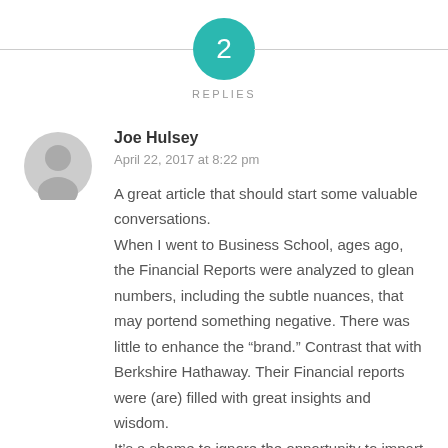[Figure (illustration): Teal circle with white number '2' centered, flanked by horizontal gray lines on each side]
REPLIES
[Figure (illustration): Gray avatar/user silhouette icon in a circle]
Joe Hulsey
April 22, 2017 at 8:22 pm
A great article that should start some valuable conversations.
When I went to Business School, ages ago, the Financial Reports were analyzed to glean numbers, including the subtle nuances, that may portend something negative. There was little to enhance the “brand.” Contrast that with Berkshire Hathaway. Their Financial reports were (are) filled with great insights and wisdom.
It’s a shame to ignore the opportunity to impart some corporate wisdom